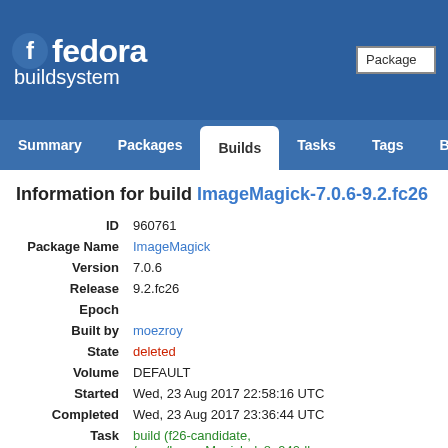fedora buildsystem — navigation: Summary, Packages, Builds, Tasks, Tags, Build
Information for build ImageMagick-7.0.6-9.2.fc26
| Field | Value |
| --- | --- |
| ID | 960761 |
| Package Name | ImageMagick |
| Version | 7.0.6 |
| Release | 9.2.fc26 |
| Epoch |  |
| Built by | moezroy |
| State | deleted |
| Volume | DEFAULT |
| Started | Wed, 23 Aug 2017 22:58:16 UTC |
| Completed | Wed, 23 Aug 2017 23:36:44 UTC |
| Task | build (f26-candidate, /rpms/ImageMagick:dc8e940dbe- |
| Tags | No tags |
| RPMs | ... |